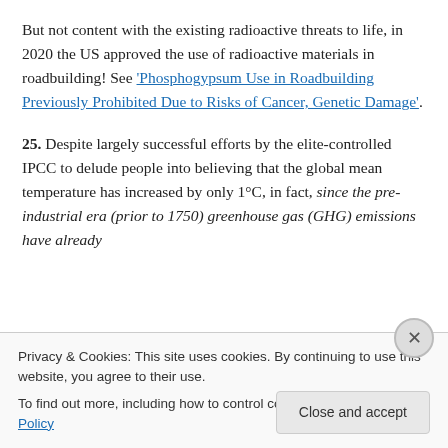But not content with the existing radioactive threats to life, in 2020 the US approved the use of radioactive materials in roadbuilding! See 'Phosphogypsum Use in Roadbuilding Previously Prohibited Due to Risks of Cancer, Genetic Damage'.
25. Despite largely successful efforts by the elite-controlled IPCC to delude people into believing that the global mean temperature has increased by only 1°C, in fact, since the pre-industrial era (prior to 1750) greenhouse gas (GHG) emissions have already
Privacy & Cookies: This site uses cookies. By continuing to use this website, you agree to their use.
To find out more, including how to control cookies, see here: Cookie Policy